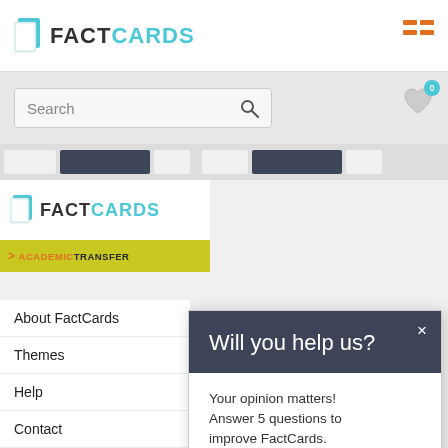FACTCARDS
Search
ACADEMICTRANSFER
About FactCards
Themes
Help
Contact
Will you help us?
Your opinion matters! Answer 5 questions to improve FactCards.
Sure, I will help